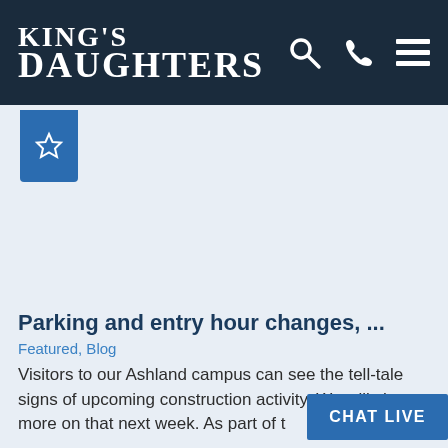KING'S DAUGHTERS
[Figure (logo): King's Daughters hospital logo with search, phone, and menu icons on dark navy header]
[Figure (other): Blue bookmark/tab icon with star outline on light blue background]
Parking and entry hour changes, ...
Featured, Blog
Visitors to our Ashland campus can see the tell-tale signs of upcoming construction activity. We will share more on that next week. As part of t
CHAT LIVE